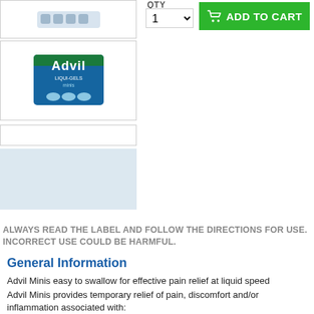[Figure (photo): Top thumbnail image box of Advil product (partially visible)]
[Figure (photo): Main product image box showing Advil Minis box packaging]
[Figure (photo): Empty image thumbnail box]
[Figure (photo): Light blue image placeholder box]
QTY
1
ADD TO CART
ALWAYS READ THE LABEL AND FOLLOW THE DIRECTIONS FOR USE. INCORRECT USE COULD BE HARMFUL.
General Information
Advil Minis easy to swallow for effective pain relief at liquid speed
Advil Minis provides temporary relief of pain, discomfort and/or inflammation associated with:
• Headache • Migraine Headache • Tension Headache
• Period Pain • Sore Throat Pain • Back Pain
• Dental Pain • Cold & Flu • Muscle Pain
• Mild Arthritis Pain
• Reduces fever • Advil Minis is 23% smaller and the same strength as our Advil Liquid Capsules AUST R 97229 for pain relief at liquid speed